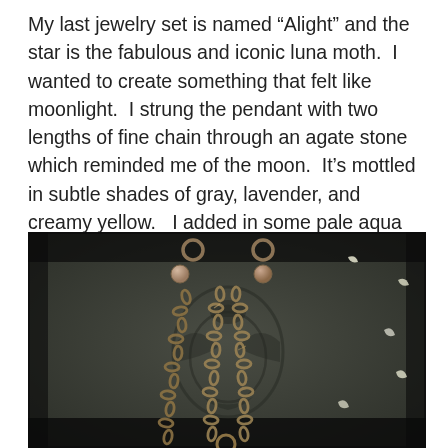My last jewelry set is named “Alight” and the star is the fabulous and iconic luna moth.  I wanted to create something that felt like moonlight.  I strung the pendant with two  lengths of fine chain through an agate stone which reminded me of the moon.  It’s mottled in subtle shades of gray, lavender, and creamy yellow.   I added in some pale aqua agate beads to chain for the length of the necklace.
[Figure (photo): Dark photograph of a necklace with bronze/gold chain links and pale round beads, displayed on a gray fabric with a decorative dark printed motif. Several small crescent moon-shaped light reflections are visible on the fabric background.]